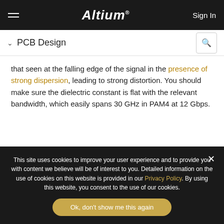Altium — Sign In
PCB Design
that seen at the falling edge of the signal in the presence of strong dispersion, leading to strong distortion. You should make sure the dielectric constant is flat with the relevant bandwidth, which easily spans 30 GHz in PAM4 at 12 Gbps.
Short Traces and Backdrilling
This site uses cookies to improve your user experience and to provide you with content we believe will be of interest to you. Detailed information on the use of cookies on this website is provided in our Privacy Policy. By using this website, you consent to the use of our cookies.